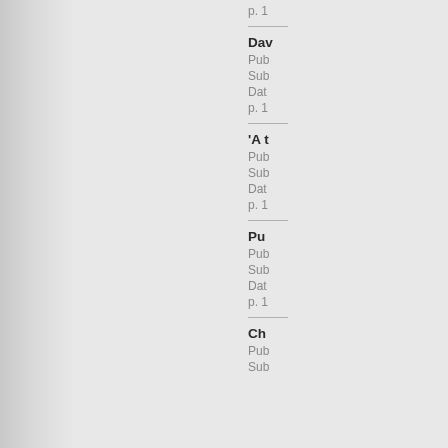p. 1
Dav
Pub
Sub
Dat
p. 1
'A t
Pub
Sub
Dat
p. 1
Pu
Pub
Sub
Dat
p. 1
Ch
Pub
Sub